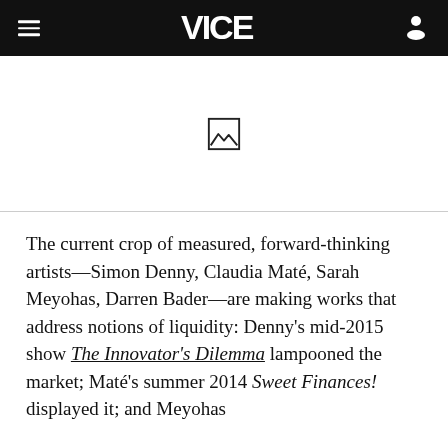VICE
[Figure (illustration): Image placeholder icon (mountain/landscape symbol in a square border)]
The current crop of measured, forward-thinking artists—Simon Denny, Claudia Maté, Sarah Meyohas, Darren Bader—are making works that address notions of liquidity: Denny's mid-2015 show The Innovator's Dilemma lampooned the market; Maté's summer 2014 Sweet Finances! displayed it; and Meyohas